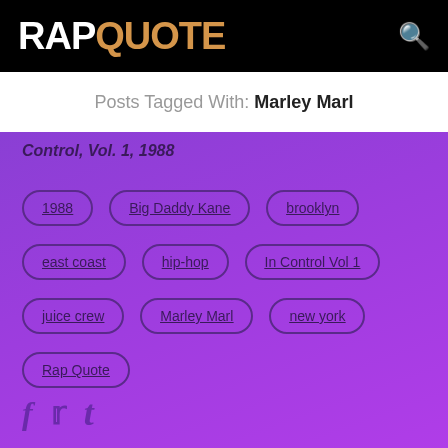RAPQUOTE
Posts Tagged With: Marley Marl
Control, Vol. 1, 1988
1988
Big Daddy Kane
brooklyn
east coast
hip-hop
In Control Vol 1
juice crew
Marley Marl
new york
Rap Quote